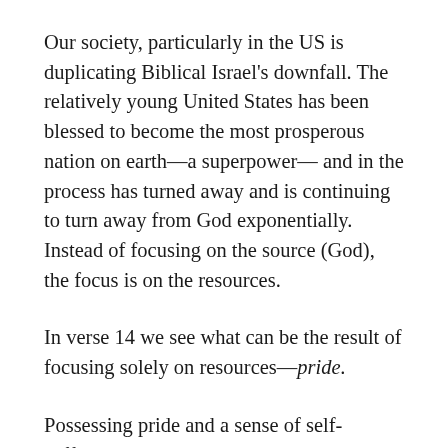Our society, particularly in the US is duplicating Biblical Israel's downfall. The relatively young United States has been blessed to become the most prosperous nation on earth—a superpower— and in the process has turned away and is continuing to turn away from God exponentially. Instead of focusing on the source (God), the focus is on the resources.
In verse 14 we see what can be the result of focusing solely on resources—pride.
Possessing pride and a sense of self-sufficiency can cause an individual and a nation to forget God. An individual or a nation can begin to feel that subsequent prosperity is due solely to